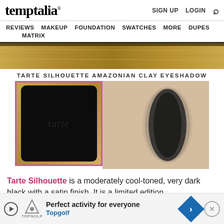temptalia® — SIGN UP  LOGIN  🔍
REVIEWS  MAKEUP  FOUNDATION  SWATCHES  MORE  DUPES  MATRIX
[Figure (photo): Close-up of a gold/bronze palette product banner]
TARTE SILHOUETTE AMAZONIAN CLAY EYESHADOW
[Figure (photo): Two-photo composite: left shows a black square eyeshadow pan in a gold/pink compact with tarte logo; right shows a swatch on skin — a dark black streak with soft edges]
Tarte Silhouette is a moderately cool-toned, very dark black with a satin finish. It is a limited edition eyesha[dow...]
Jump t[o...]
[Figure (screenshot): Advertisement banner: Topgolf — Perfect activity for everyone, with blue diamond arrow icon and close button]